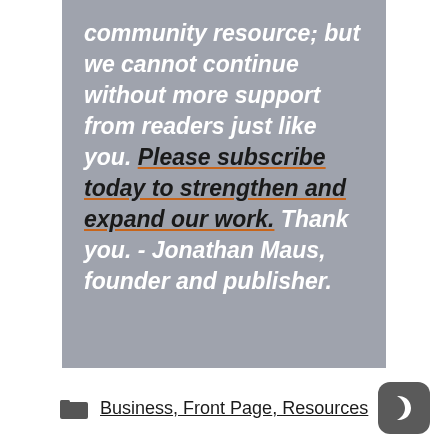community resource; but we cannot continue without more support from readers just like you. Please subscribe today to strengthen and expand our work. Thank you. - Jonathan Maus, founder and publisher.
Business, Front Page, Resources